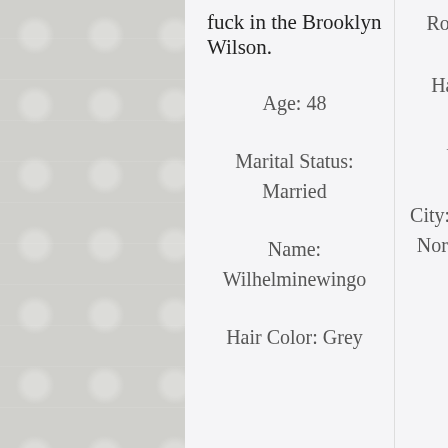fuck in the Brooklyn Wilson.
Age: 48
Marital Status: Married
Name: Wilhelminewingo
Hair Color: Grey
RoosLake21
Hair Color: Auburn
City: Rural Hall, North Carolina
Ru
so
se